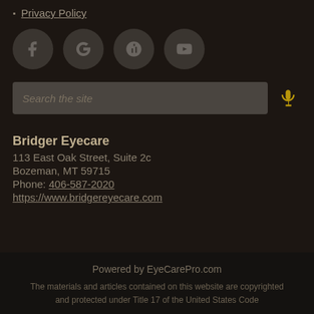Privacy Policy
[Figure (infographic): Four social media icon buttons in dark circular backgrounds: Facebook (f), Google (G), Yelp (yelp flower), YouTube (play button)]
[Figure (screenshot): Search bar with placeholder text 'Search the site' and a microphone icon in gold on the right]
Bridger Eyecare
113 East Oak Street, Suite 2c
Bozeman, MT 59715
Phone: 406-587-2020
https://www.bridgereyecare.com
Powered by EyeCarePro.com
The materials and articles contained on this website are copyrighted and protected under Title 17 of the United States Code